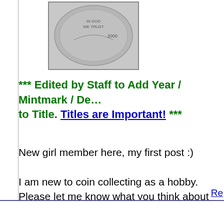[Figure (photo): Close-up photo of a US dime coin showing the reverse side with year 2000 and mint details]
*** Edited by Staff to Add Year / Mintmark / Denomination to Title. Titles are Important! ***
New girl member here, my first post :)
I am new to coin collecting as a hobby. Please let me know what you think about the dime picture I posted. To super cool. Please let me know what you think! :)
Re...